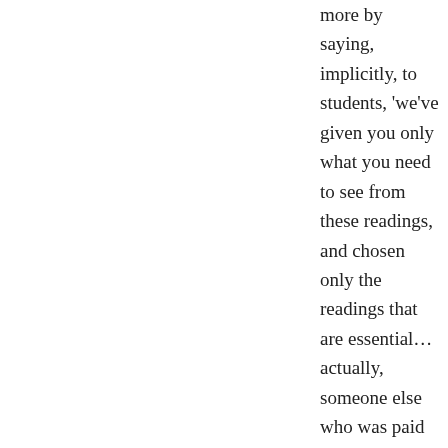more by saying, implicitly, to students, 'we've given you only what you need to see from these readings, and chosen only the readings that are essential… actually, someone else who was paid by